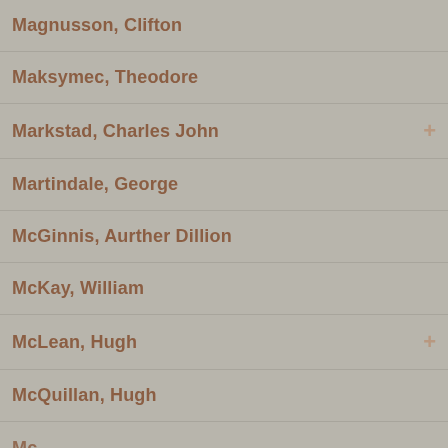Magnusson, Clifton
Maksymec, Theodore
Markstad, Charles John
Martindale, George
McGinnis, Aurther Dillion
McKay, William
McLean, Hugh
McQuillan, Hugh
Mc... (partial)